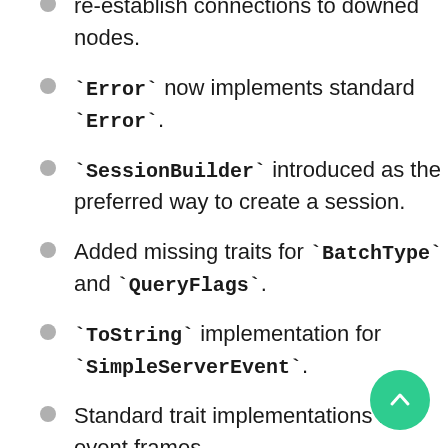re-establish connections to downed nodes.
`Error` now implements standard `Error`.
`SessionBuilder` introduced as the preferred way to create a session.
Added missing traits for `BatchType` and `QueryFlags`.
`ToString` implementation for `SimpleServerEvent`.
Standard trait implementations for event frames.
`contains_column`, `is_empty_by_name` and `is_empty` functions for `Row`.
`Display` implementation for public enums.
Missing traits for `PreparedMetadata`, `Value`, ...